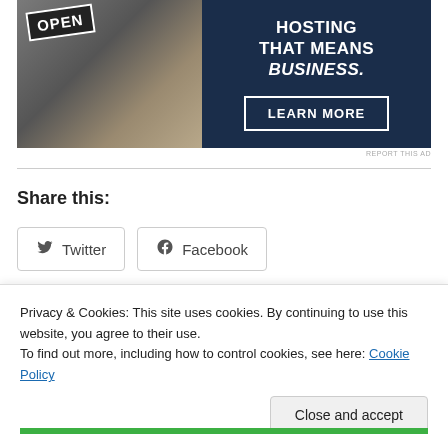[Figure (photo): Advertisement banner showing a person holding an OPEN sign on the left (photo), and dark navy blue background on the right with text 'HOSTING THAT MEANS BUSINESS.' and a 'LEARN MORE' button.]
REPORT THIS AD
Share this:
Twitter
Facebook
Loading...
Privacy & Cookies: This site uses cookies. By continuing to use this website, you agree to their use.
To find out more, including how to control cookies, see here: Cookie Policy
Close and accept